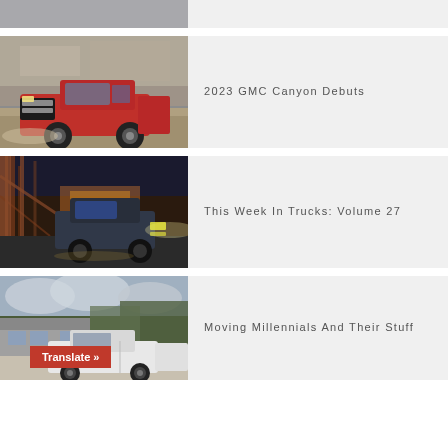[Figure (photo): Partial top card showing bottom edge of a vehicle photo]
[Figure (photo): 2023 GMC Canyon red truck driving on a dirt road with rocky cliffs in background]
2023 GMC Canyon Debuts
[Figure (photo): Truck driving on a road at dusk near a bridge with industrial structure]
This Week In Trucks: Volume 27
[Figure (photo): White pickup truck parked in driveway of suburban house with trees]
Moving Millennials And Their Stuff